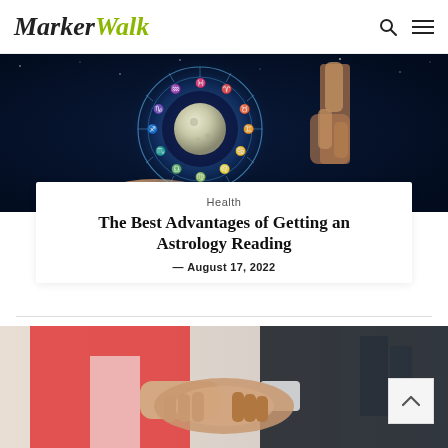MarkerWalk
[Figure (photo): A glowing blue astrological zodiac wheel with a moon in the center, held in hands with a finger pointing at it against a dark starry background.]
Health
The Best Advantages of Getting an Astrology Reading
— August 17, 2022
[Figure (photo): A woman in a red blazer shaking hands with a man in a dark suit, in an office setting with blue binders in the background.]